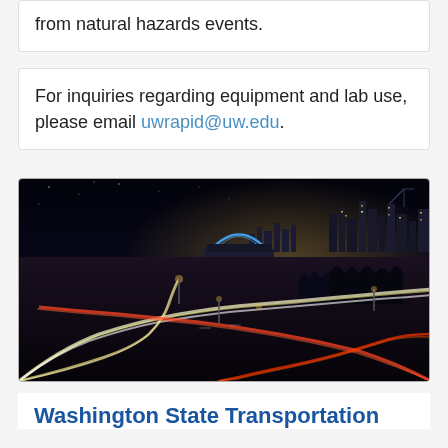from natural hazards events.
For inquiries regarding equipment and lab use, please email uwrapid@uw.edu.
[Figure (photo): Night aerial/elevated view of a busy highway interchange with light trails from vehicle traffic, Seattle city skyline with lit stadium arch in background, taken at night with long exposure.]
Washington State Transportation